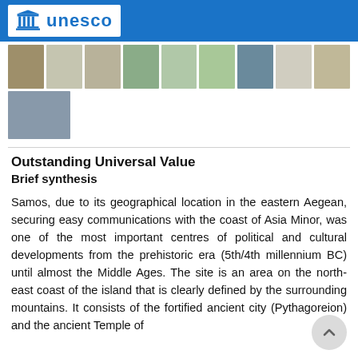UNESCO
[Figure (photo): Strip of archaeological site photos of Samos/Pythagoreion and Heraion, showing ruins, landscape, and site views. Two rows: first row has 9 thumbnail photos, second row has 1 thumbnail photo.]
Outstanding Universal Value
Brief synthesis
Samos, due to its geographical location in the eastern Aegean, securing easy communications with the coast of Asia Minor, was one of the most important centres of political and cultural developments from the prehistoric era (5th/4th millennium BC) until almost the Middle Ages. The site is an area on the north-east coast of the island that is clearly defined by the surrounding mountains. It consists of the fortified ancient city (Pythagoreion) and the ancient Temple of